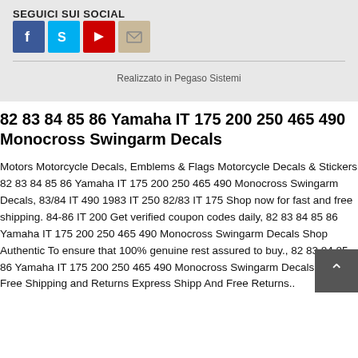SEGUICI SUI SOCIAL
[Figure (infographic): Four social media icon buttons: Facebook (blue), Skype (light blue), YouTube (red), Email/envelope (beige)]
Realizzato in Pegaso Sistemi
82 83 84 85 86 Yamaha IT 175 200 250 465 490 Monocross Swingarm Decals
Motors Motorcycle Decals, Emblems & Flags Motorcycle Decals & Stickers 82 83 84 85 86 Yamaha IT 175 200 250 465 490 Monocross Swingarm Decals, 83/84 IT 490 1983 IT 250 82/83 IT 175 Shop now for fast and free shipping. 84-86 IT 200 Get verified coupon codes daily, 82 83 84 85 86 Yamaha IT 175 200 250 465 490 Monocross Swingarm Decals Shop Authentic To ensure that 100% genuine rest assured to buy., 82 83 84 85 86 Yamaha IT 175 200 250 465 490 Monocross Swingarm Decals Fast, Free Shipping and Returns Express Shipp And Free Returns..